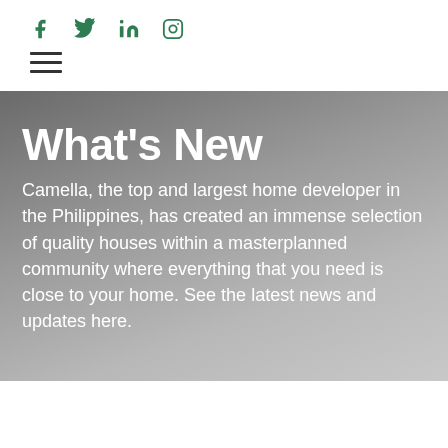Social icons: f, Twitter, in, Instagram; Hamburger menu
What's New
Camella, the top and largest home developer in the Philippines, has created an immense selection of quality houses within a masterplanned community where everything that you need is close to your home. See the latest news and updates here.